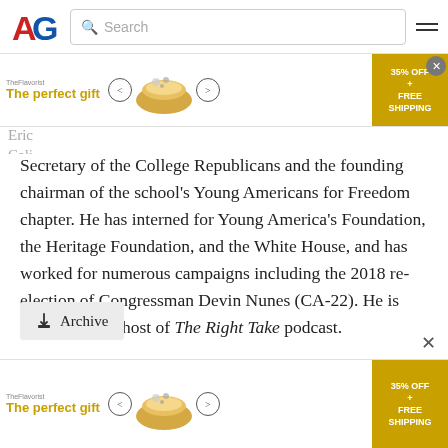AG [logo] Search [hamburger menu]
[Figure (screenshot): Advertisement banner: 'The perfect gift' with food bowl image, navigation arrows, and '35% OFF + FREE SHIPPING' offer badge. Close button (X) top right.]
Secretary of the College Republicans and the founding chairman of the school's Young Americans for Freedom chapter. He has interned for Young America's Foundation, the Heritage Foundation, and the White House, and has worked for numerous campaigns including the 2018 re-election of Congressman Devin Nunes (CA-22). He is currently a co-host of The Right Take podcast.
Archive
[Figure (screenshot): Bottom advertisement banner: 'The perfect gift' with food bowl image, navigation arrows, and '35% OFF + FREE SHIPPING' offer badge.]